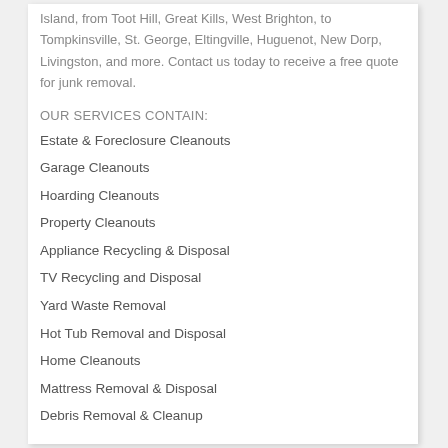Island, from Toot Hill, Great Kills, West Brighton, to Tompkinsville, St. George, Eltingville, Huguenot, New Dorp, Livingston, and more. Contact us today to receive a free quote for junk removal.
OUR SERVICES CONTAIN:
Estate & Foreclosure Cleanouts
Garage Cleanouts
Hoarding Cleanouts
Property Cleanouts
Appliance Recycling & Disposal
TV Recycling and Disposal
Yard Waste Removal
Hot Tub Removal and Disposal
Home Cleanouts
Mattress Removal & Disposal
Debris Removal & Cleanup